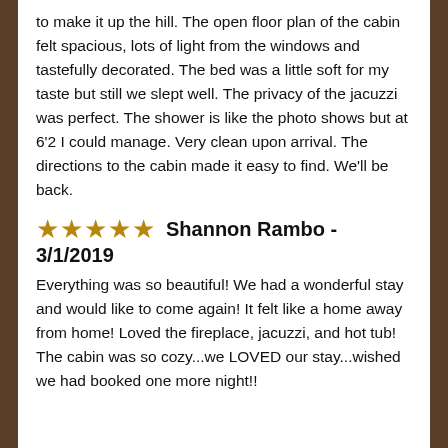to make it up the hill. The open floor plan of the cabin felt spacious, lots of light from the windows and tastefully decorated. The bed was a little soft for my taste but still we slept well. The privacy of the jacuzzi was perfect. The shower is like the photo shows but at 6'2 I could manage. Very clean upon arrival. The directions to the cabin made it easy to find. We'll be back.
★★★★★   Shannon Rambo - 3/1/2019
Everything was so beautiful! We had a wonderful stay and would like to come again! It felt like a home away from home! Loved the fireplace, jacuzzi, and hot tub! The cabin was so cozy...we LOVED our stay...wished we had booked one more night!!